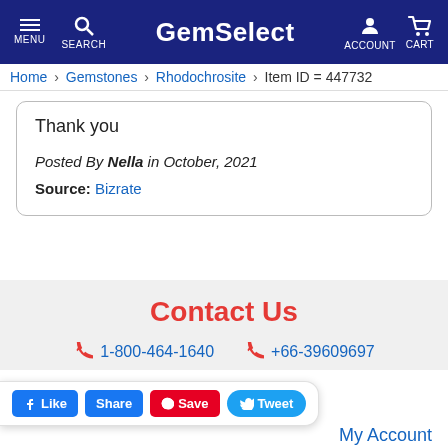GemSelect — MENU SEARCH ACCOUNT CART
Home > Gemstones > Rhodochrosite > Item ID = 447732
Thank you

Posted By Nella in October, 2021

Source: Bizrate
Contact Us
1-800-464-1640   +66-39609697
My Account